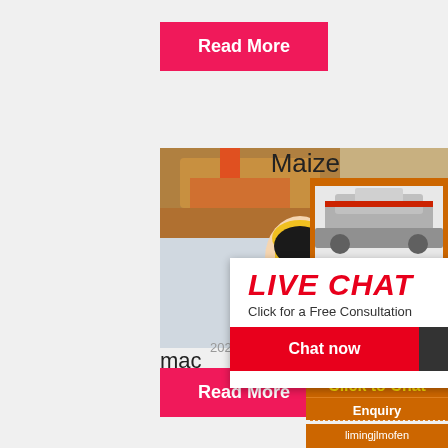Read More
[Figure (photo): Construction workers in yellow hard hats with machinery background, with a live chat popup overlay showing 'LIVE CHAT - Click for a Free Consultation' with Chat now and Chat later buttons]
Maize
[Figure (photo): Two industrial machines/crushers shown on orange background sidebar]
Enjoy 3% discount
Click to Chat
Enquiry
limingjlmofen@sina.com
mac Africa
2021-11-18   Maize thresher machine pri
Read More